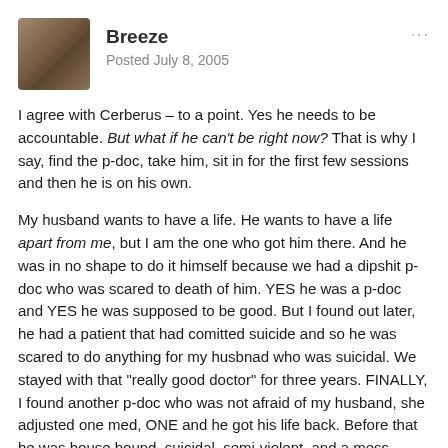Breeze
Posted July 8, 2005
I agree with Cerberus – to a point. Yes he needs to be accountable. But what if he can't be right now? That is why I say, find the p-doc, take him, sit in for the first few sessions and then he is on his own.
My husband wants to have a life. He wants to have a life apart from me, but I am the one who got him there. And he was in no shape to do it himself because we had a dipshit p-doc who was scared to death of him. YES he was a p-doc and YES he was supposed to be good. But I found out later, he had a patient that had comitted suicide and so he was scared to do anything for my husbnad who was suicidal. We stayed with that "really good doctor" for three years. FINALLY, I found another p-doc who was not afraid of my husband, she adjusted one med, ONE and he got his life back. Before that he was house bound, suicidal, semi-violent, and a mess. There is no way he could have been held accountable for his health then.